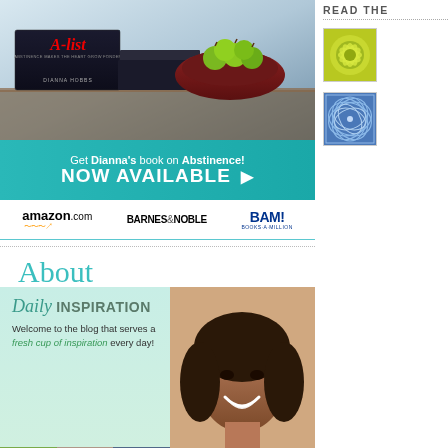[Figure (photo): Book cover for 'A-list: Abstinence Makes the Heart Grow Fonder' by Dianna Hobbs, stacked with other books, with a bowl of green apples]
[Figure (photo): Teal/cyan banner reading 'Get Dianna's book on Abstinence! NOW AVAILABLE ▶']
[Figure (logo): Retailer logos: amazon.com, BARNES & NOBLE, BAM! Books-A-Million]
[Figure (screenshot): About section with 'Daily INSPIRATION' header, text 'Welcome to the blog that serves a fresh cup of inspiration every day!' with photos of women]
[Figure (photo): Right sidebar partial: READ THE header with green mandala thumbnail and blue geometric thumbnail]
READ THE